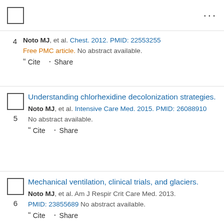4. Noto MJ, et al. Chest. 2012. PMID: 22553255 Free PMC article. No abstract available.
5. Understanding chlorhexidine decolonization strategies. Noto MJ, et al. Intensive Care Med. 2015. PMID: 26088910 No abstract available.
6. Mechanical ventilation, clinical trials, and glaciers. Noto MJ, et al. Am J Respir Crit Care Med. 2013. PMID: 23855689 No abstract available.